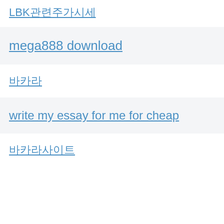LBK관련주가시세
mega888 download
바카라
write my essay for me for cheap
바카라사이트